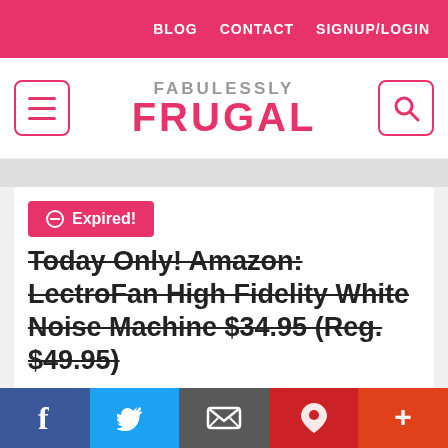BLOG  CONTACT  SIGNUP/LOGIN
[Figure (logo): Fabulessly Frugal logo with hamburger menu and search icon]
[Figure (infographic): Expired! badge in pink]
Today Only! Amazon: LectroFan High Fidelity White Noise Machine $34.95 (Reg. $49.95)
1720 days ago | The links in the post below may be affiliate links. Read the full disclosure
[Figure (logo): Fabulessly Frugal circular watermark logo]
f  Twitter  Email  Pinterest  +